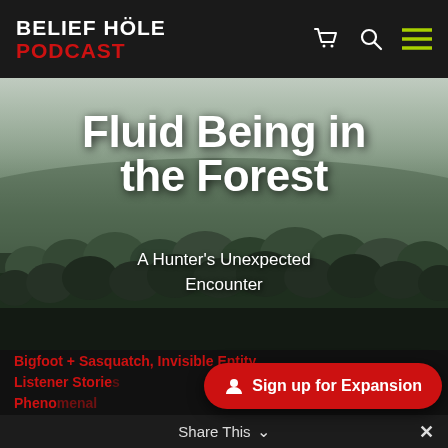BELIEF HOLE PODCAST
Fluid Being in the Forest
A Hunter's Unexpected Encounter
[Figure (photo): Misty forested mountainside with dark green trees and fog in background, serving as hero image background]
Bigfoot + Sasquatch, Invisible Entity, Listener Stories, Phenomenal
Sign up for Expansion
Share This ∨  ×